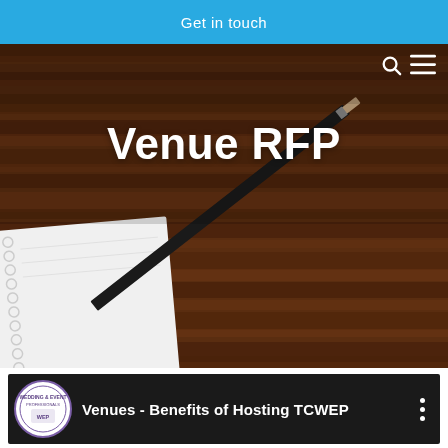Get in touch
[Figure (photo): Hero banner photo showing a pencil resting on a spiral notebook on a dark wood surface, with bold white text 'Venue RFP' centered over it. Navigation search and hamburger icons visible top right.]
[Figure (screenshot): Video thumbnail bar with dark background showing a circular logo reading 'Wedding & Event Professionals' on the left, followed by white bold text 'Venues - Benefits of Hosting TCWEP', and a three-dot menu icon on the right.]